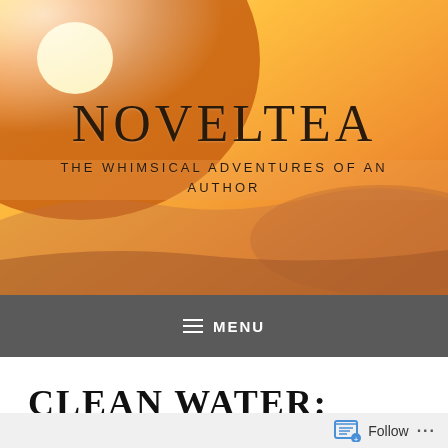[Figure (photo): Sunset landscape photo used as website header background, with warm orange and yellow hues, sun visible in upper left, silhouetted hills in background]
NOVELTEA
THE WHIMSICAL ADVENTURES OF AN AUTHOR
≡ MENU
CLEAN WATER:
Follow ...